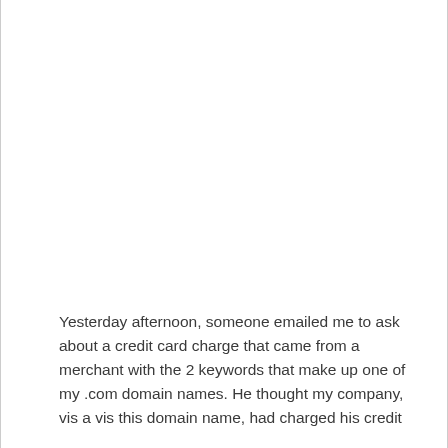Yesterday afternoon, someone emailed me to ask about a credit card charge that came from a merchant with the 2 keywords that make up one of my .com domain names. He thought my company, vis a vis this domain name, had charged his credit